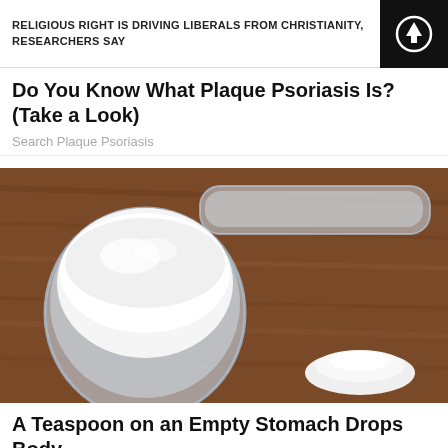RELIGIOUS RIGHT IS DRIVING LIBERALS FROM CHRISTIANITY, RESEARCHERS SAY
Do You Know What Plaque Psoriasis Is? (Take a Look)
Search Plaque Psoriasis
[Figure (photo): A clear plastic measuring scoop filled with white powder sitting on a rustic wooden surface, with a small pile of white powder beside it.]
A Teaspoon on an Empty Stomach Drops Body Weight After 1 week